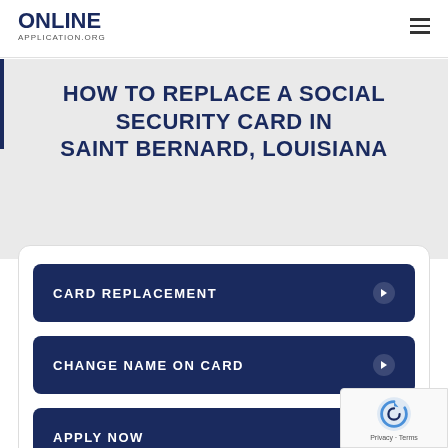ONLINE APPLICATION.ORG
HOW TO REPLACE A SOCIAL SECURITY CARD IN SAINT BERNARD, LOUISIANA
CARD REPLACEMENT
CHANGE NAME ON CARD
APPLY NOW